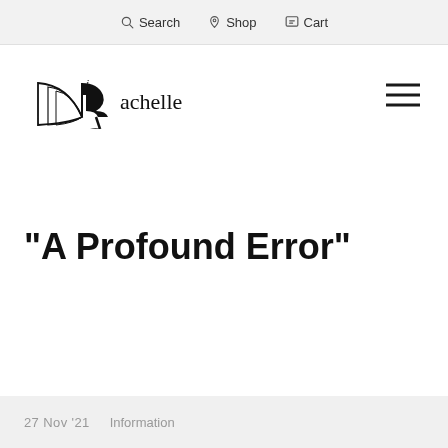Search  Shop  Cart
[Figure (logo): iRachelle logo: open book with high-heel shoe and stylized R, text 'iRachelle']
“A Profound Error”
27 Nov ’21   Information